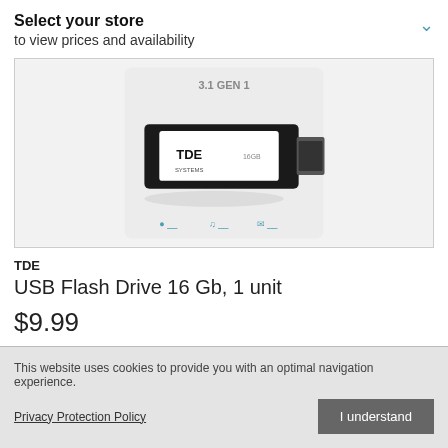Select your store
to view prices and availability
[Figure (photo): USB Flash Drive TDE 16Gb product image with USB 3.1 GEN 1 label, showing a black USB drive with white TDE SYSTEMS branding, on a light background with small icons at bottom]
TDE
USB Flash Drive 16 Gb, 1 unit
$9.99
★★★★★
This website uses cookies to provide you with an optimal navigation experience.
Privacy Protection Policy
I understand